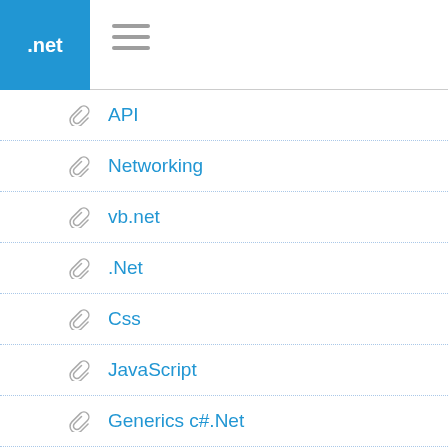.net
API
Networking
vb.net
.Net
Css
JavaScript
Generics c#.Net
entity framework
HTML
Website host